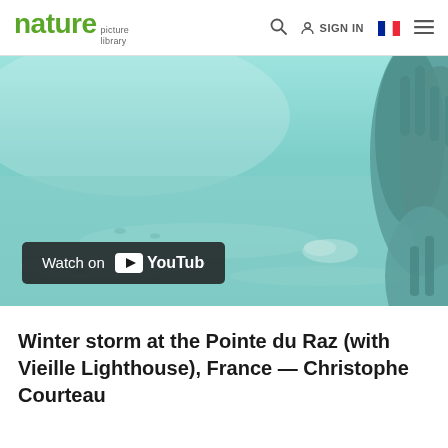nature picture library | SIGN IN
[Figure (screenshot): Underwater video thumbnail showing sandy ocean floor with coral in the top right corner, with a YouTube 'Watch on YouTube' badge overlay at bottom left]
Winter storm at the Pointe du Raz (with Vieille Lighthouse), France — Christophe Courteau